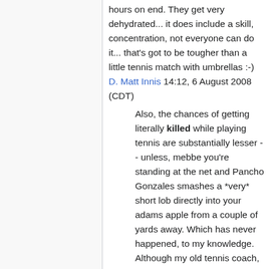hours on end. They get very dehydrated... it does include a skill, concentration, not everyone can do it... that's got to be tougher than a little tennis match with umbrellas :-) D. Matt Innis 14:12, 6 August 2008 (CDT)
Also, the chances of getting literally killed while playing tennis are substantially lesser -- unless, mebbe you're standing at the net and Pancho Gonzales smashes a *very* short lob directly into your adams apple from a couple of yards away. Which has never happened, to my knowledge. Although my old tennis coach, Ray Casey, once hit Little Bill Johnson like